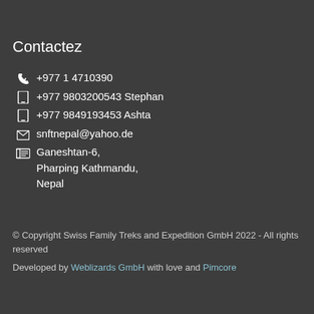Contactez
📞 +977 1 4710390
📱 +977 9803200543 Stephan
📱 +977 9849193453 Ashta
✉ snftnepal@yahoo.de
🪪 Ganeshtan-6, Pharping Kathmandu, Nepal
© Copyright Swiss Family Treks and Expedition GmbH 2022 - All rights reserved
Developed by Weblizards GmbH with love and Pimcore